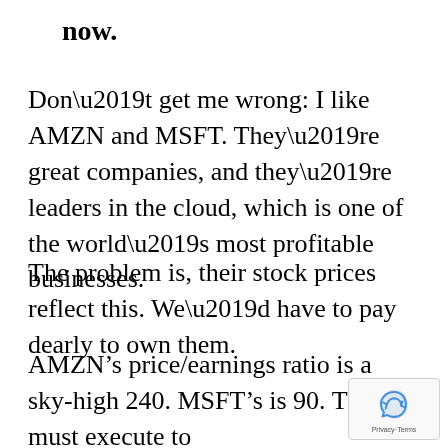now.
Don’t get me wrong: I like AMZN and MSFT. They’re great companies, and they’re leaders in the cloud, which is one of the world’s most profitable businesses.
The problem is, their stock prices reflect this. We’d have to pay dearly to own them.
AMZN’s price/earnings ratio is a sky-high 240. MSFT’s is 90. They must execute to perfection to justify these ridiculously expensive valuations.